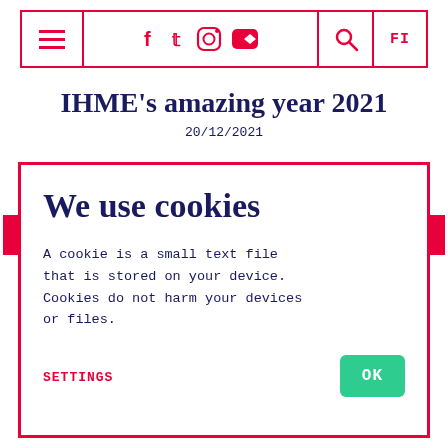[Figure (screenshot): Navigation bar with hamburger menu icon on left, social media icons (Facebook, Twitter, Instagram, YouTube) in center, search icon and language toggle (FI) on right, all bordered in red]
IHME's amazing year 2021
20/12/2021
We use cookies
A cookie is a small text file that is stored on your device. Cookies do not harm your devices or files.
SETTINGS
OK